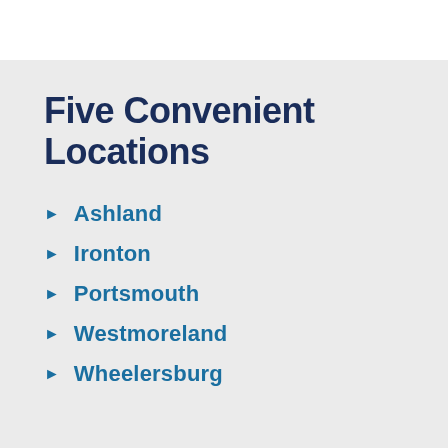Five Convenient Locations
Ashland
Ironton
Portsmouth
Westmoreland
Wheelersburg